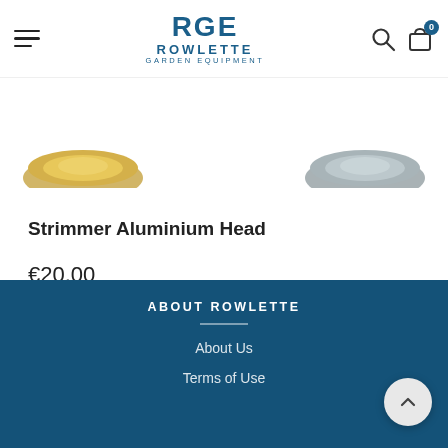Rowlette Garden Equipment – navigation header with logo, search and cart icons
[Figure (photo): Partial view of two gold/brass strimmer aluminium heads, left and right, partially cropped at top of product listing]
Strimmer Aluminium Head
€20,00
ABOUT ROWLETTE – About Us – Terms of Use